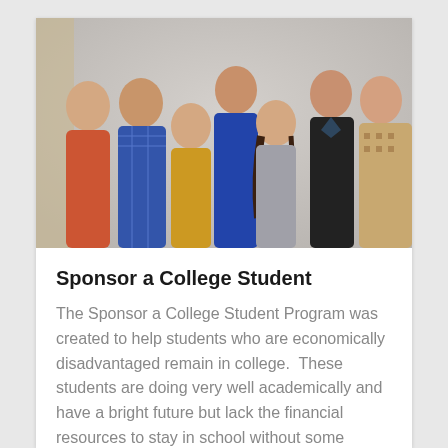[Figure (photo): Group photo of seven young college students standing together against a light gray wall. From left to right: a man in an orange t-shirt, a man in a blue plaid shirt, a woman in a yellow sweater with a braid, a man in a blue sweater, a woman in a gray patterned sweater with long brown hair, a man in a black v-neck sweater, and a man in a patterned knit sweater.]
Sponsor a College Student
The Sponsor a College Student Program was created to help students who are economically disadvantaged remain in college.  These students are doing very well academically and have a bright future but lack the financial resources to stay in school without some assistance. Find out more